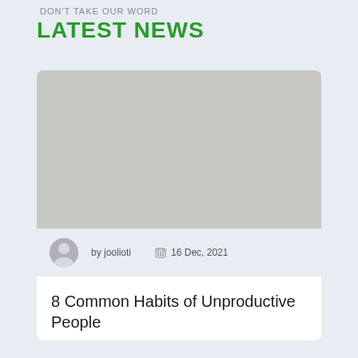DON'T TAKE OUR WORD
LATEST NEWS
[Figure (photo): Gray placeholder image for a news article thumbnail]
by joolioti   16 Dec, 2021
8 Common Habits of Unproductive People